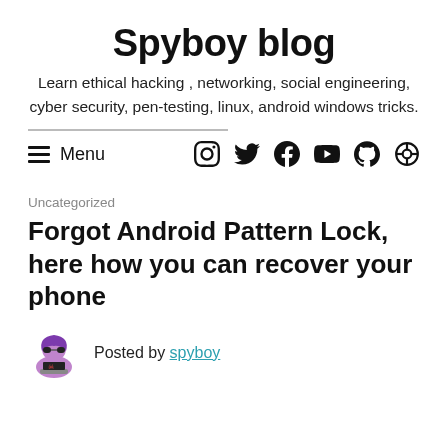Spyboy blog
Learn ethical hacking , networking, social engineering, cyber security, pen-testing, linux, android windows tricks.
Menu | Social icons: Instagram, Twitter, Facebook, YouTube, GitHub, other
Uncategorized
Forgot Android Pattern Lock, here how you can recover your phone
Posted by spyboy